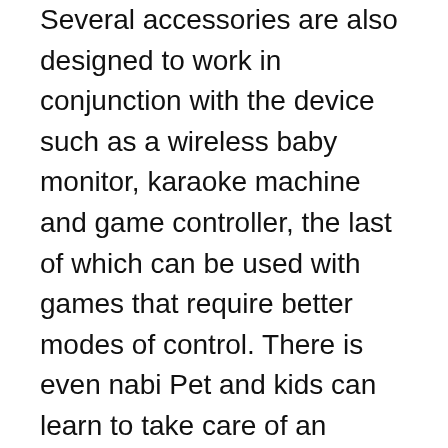Several accessories are also designed to work in conjunction with the device such as a wireless baby monitor, karaoke machine and game controller, the last of which can be used with games that require better modes of control. There is even nabi Pet and kids can learn to take care of an animal, much like Sony's EyePet.
The Fuhu nabi Jr. will be made available in retail stores as well as online in North America, the UK, Korea, China and Japan in mid-December. It will retail at $99 for